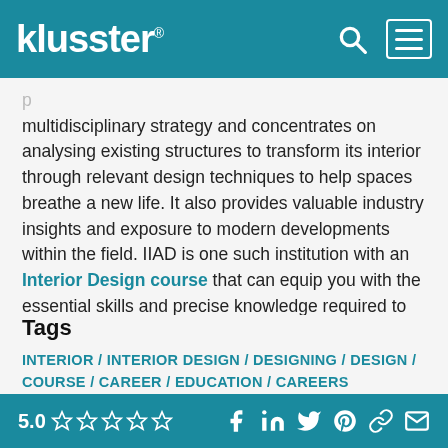klusster®
multidisciplinary strategy and concentrates on analysing existing structures to transform its interior through relevant design techniques to help spaces breathe a new life. It also provides valuable industry insights and exposure to modern developments within the field. IIAD is one such institution with an Interior Design course that can equip you with the essential skills and precise knowledge required to move up in the industry successfully.
Tags
INTERIOR / INTERIOR DESIGN / DESIGNING / DESIGN / COURSE / CAREER / EDUCATION / CAREERS
5.0 ☆☆☆☆☆